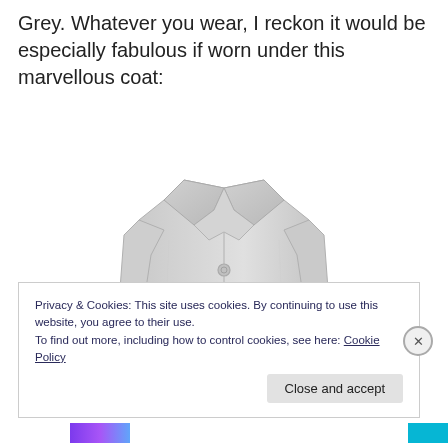Grey. Whatever you wear, I reckon it would be especially fabulous if worn under this marvellous coat:
[Figure (photo): A light grey oversized coat with lapels and two buttons, displayed on a white background.]
Privacy & Cookies: This site uses cookies. By continuing to use this website, you agree to their use. To find out more, including how to control cookies, see here: Cookie Policy